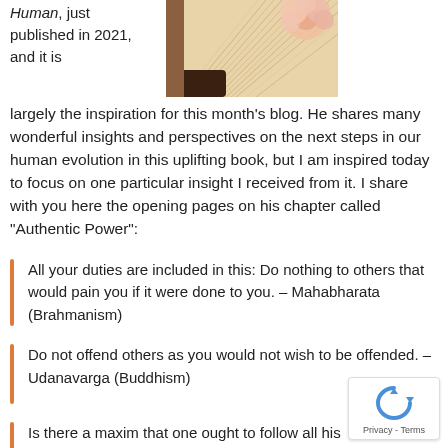Human, just published in 2021, and it is largely the inspiration for this month's blog. He shares many wonderful insights and perspectives on the next steps in our human evolution in this uplifting book, but I am inspired today to focus on one particular insight I received from it. I share with you here the opening pages on his chapter called “Authentic Power”:
[Figure (photo): Photo of an open book with pages fanned out, with a pink/peach rose resting on top]
All your duties are included in this: Do nothing to others that would pain you if it were done to you. – Mahabharata (Brahmanism)
Do not offend others as you would not wish to be offended. – Udanavarga (Buddhism)
Is there a maxim that one ought to follow all his